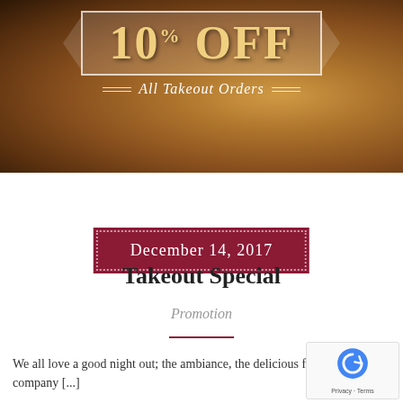[Figure (illustration): Hero banner image showing fried food/noodle dish with dark brown background. Overlaid with a ribbon-style banner reading '10% OFF All Takeout Orders' in gold and white text.]
December 14, 2017
Takeout Special
Promotion
We all love a good night out; the ambiance, the delicious food, the great company [...]